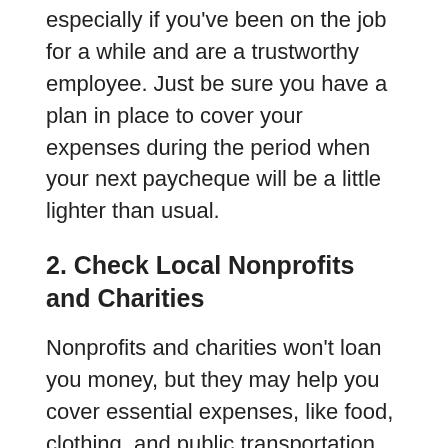especially if you've been on the job for a while and are a trustworthy employee. Just be sure you have a plan in place to cover your expenses during the period when your next paycheque will be a little lighter than usual.
2. Check Local Nonprofits and Charities
Nonprofits and charities won't loan you money, but they may help you cover essential expenses, like food, clothing, and public transportation tickets. This way, you can use the money you'd normally spend on essentials to cover the unplanned expense.
Once the unplanned expense is paid for, you can return to your normal spending habits. (And this